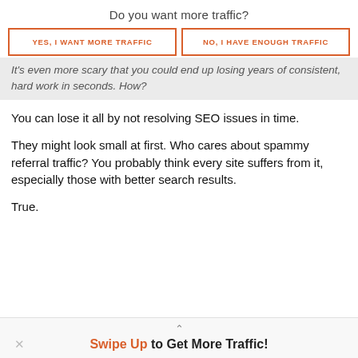Do you want more traffic?
YES, I WANT MORE TRAFFIC
NO, I HAVE ENOUGH TRAFFIC
It's even more scary that you could end up losing years of consistent, hard work in seconds. How?
You can lose it all by not resolving SEO issues in time.
They might look small at first. Who cares about spammy referral traffic? You probably think every site suffers from it, especially those with better search results.
True.
Swipe Up to Get More Traffic!